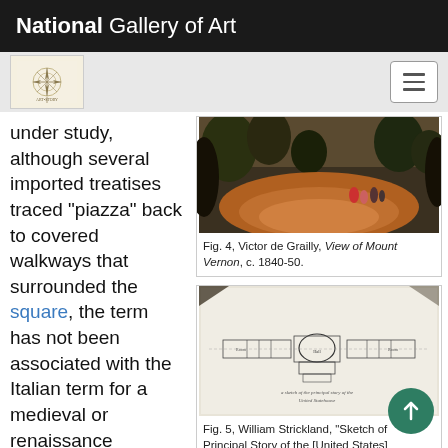National Gallery of Art
under study, although several imported treatises traced "piazza" back to covered walkways that surrounded the square, the term has not been associated with the Italian term for a medieval or renaissance
[Figure (photo): A landscape painting showing figures in a wooded outdoor scene with reddish-orange ground, attributed to Victor de Grailly, View of Mount Vernon, c. 1840-50.]
Fig. 4, Victor de Grailly, View of Mount Vernon, c. 1840-50.
[Figure (engineering-diagram): An architectural floor plan sketch, appearing to be a principal story layout of a building. Attributed to William Strickland, 'Sketch of Principal Story of the [United States]'.]
Fig. 5, William Strickland, "Sketch of Principal Story of the [United States]